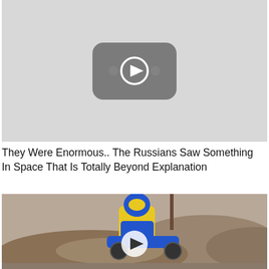[Figure (screenshot): YouTube-style video thumbnail placeholder — grey rectangle with dark rounded-rectangle play button icon in the center]
They Were Enormous.. The Russians Saw Something In Space That Is Totally Beyond Explanation
[Figure (photo): Motocross rider in yellow and blue gear riding a dirt bike on a dusty track, with a play button overlay in the center]